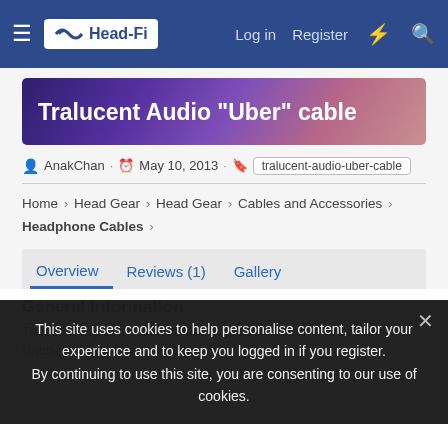Head-Fi | Log in | Register
[Figure (screenshot): Head-Fi navigation bar with hamburger menu, Head-Fi logo, Log in, Register, and search/notification icons on dark blue background]
Tralucent Audio "Uber" cable
AnakChan · May 10, 2013 · tralucent-audio-uber-cable
Home > Head Gear > Head Gear > Cables and Accessories > Headphone Cables >
Overview | Reviews (1) | Gallery
This site uses cookies to help personalise content, tailor your experience and to keep you logged in if you register. By continuing to use this site, you are consenting to our use of cookies.
General Information
Tralucent Top of the line earphone cable that seems to be named. Unofficially known as the "Uber cable".